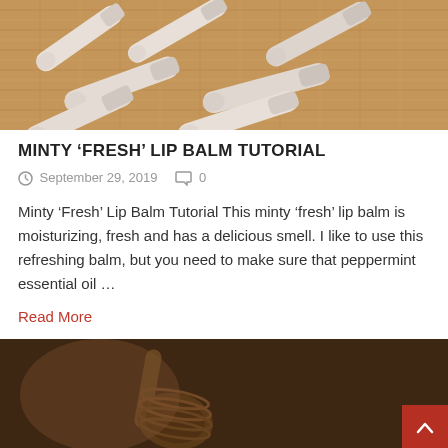[Figure (photo): Photo of multiple empty lip balm tubes scattered on a burlap surface]
MINTY ‘FRESH’ LIP BALM TUTORIAL
September 29, 2019  0
Minty ‘Fresh’ Lip Balm Tutorial This minty ‘fresh’ lip balm is moisturizing, fresh and has a delicious smell. I like to use this refreshing balm, but you need to make sure that peppermint essential oil …
Read More
[Figure (photo): Photo of a wooden honey dipper on a dark background]